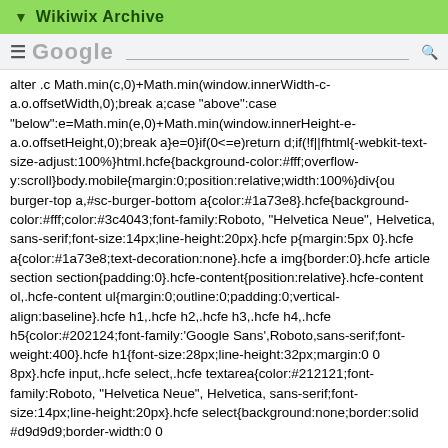▼ Wikiwix Archive
[Figure (screenshot): Google search bar screenshot partial view]
alter .c Math.min(c,0)+Math.min(window.innerWidth-c-a.o.offsetWidth,0);break a;case "above":case "below":e=Math.min(e,0)+Math.min(window.innerHeight-e-a.o.offsetHeight,0);break a}e=0}if(0<=e)return d;if(!f||fhtml{-webkit-text-size-adjust:100%}html.hcfe{background-color:#fff;overflow-y:scroll}body.mobile{margin:0;position:relative;width:100%}div{ou burger-top a,#sc-burger-bottom a{color:#1a73e8}.hcfe{background-color:#fff;color:#3c4043;font-family:Roboto, "Helvetica Neue", Helvetica, sans-serif;font-size:14px;line-height:20px}.hcfe p{margin:5px 0}.hcfe a{color:#1a73e8;text-decoration:none}.hcfe a img{border:0}.hcfe article section section{padding:0}.hcfe-content{position:relative}.hcfe-content ol,.hcfe-content ul{margin:0;outline:0;padding:0;vertical-align:baseline}.hcfe h1,.hcfe h2,.hcfe h3,.hcfe h4,.hcfe h5{color:#202124;font-family:'Google Sans',Roboto,sans-serif;font-weight:400}.hcfe h1{font-size:28px;line-height:32px;margin:0 0 8px}.hcfe input,.hcfe select,.hcfe textarea{color:#212121;font-family:Roboto, "Helvetica Neue", Helvetica, sans-serif;font-size:14px;line-height:20px}.hcfe select{background:none;border:solid #d9d9d9;border-width:0 0